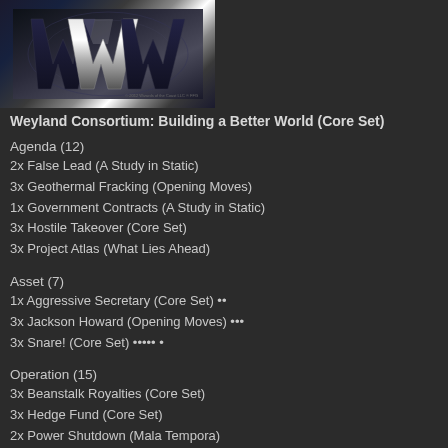[Figure (photo): Weyland Consortium card image with stylized W logo on dark metallic background]
Weyland Consortium: Building a Better World (Core Set)
Agenda (12)
2x False Lead (A Study in Static)
3x Geothermal Fracking (Opening Moves)
1x Government Contracts (A Study in Static)
3x Hostile Takeover (Core Set)
3x Project Atlas (What Lies Ahead)
Asset (7)
1x Aggressive Secretary (Core Set) ••
3x Jackson Howard (Opening Moves) •••
3x Snare! (Core Set) ••••• •
Operation (15)
3x Beanstalk Royalties (Core Set)
3x Hedge Fund (Core Set)
2x Power Shutdown (Mala Tempora)
2x Restructure (Second Thoughts)
3x Scorched Earth (Core Set)